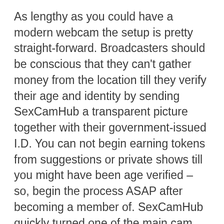As lengthy as you could have a modern webcam the setup is pretty straight-forward. Broadcasters should be conscious that they can't gather money from the location till they verify their age and identity by sending SexCamHub a transparent picture together with their government-issued I.D. You can not begin earning tokens from suggestions or private shows till you might have been age verified – so, begin the process ASAP after becoming a member of. SexCamHub quickly turned one of the main cam websites for a purpose.
Though these vary it isn't uncommon for both these limits to be very high...